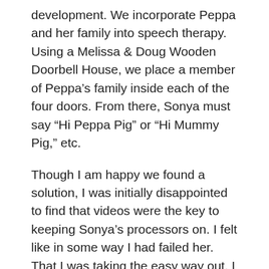development. We incorporate Peppa and her family into speech therapy. Using a Melissa & Doug Wooden Doorbell House, we place a member of Peppa's family inside each of the four doors. From there, Sonya must say “Hi Peppa Pig” or “Hi Mummy Pig,” etc.
Though I am happy we found a solution, I was initially disappointed to find that videos were the key to keeping Sonya’s processors on. I felt like in some way I had failed her. That I was taking the easy way out. I didn’t even want to admit to it on this blog. I worry that I may have opened Pandora’s Box. Perhaps Sonya will realize that I have no Plan B and will simply take her CIs off whenever she is in the mood to just zone out and